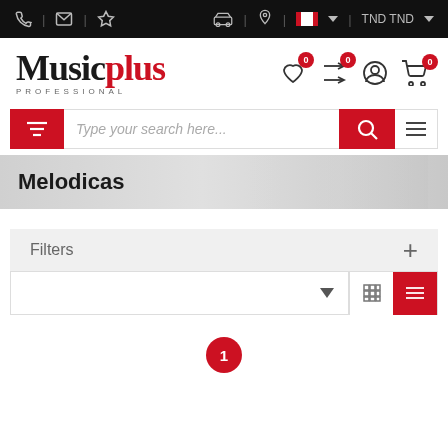MusicPlus Professional – Top navigation bar with phone, mail, star icons and cart/location/flag/TND currency icons
[Figure (logo): MusicPlus Professional logo with 'Music' in dark and 'plus' in red, with 'PROFESSIONAL' subtitle]
Type your search here...
Melodicas
Filters
1